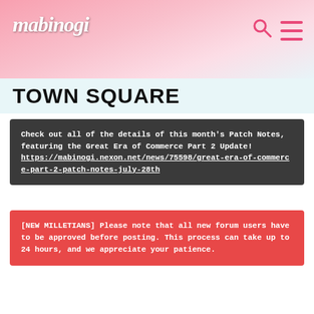mabinogi
TOWN SQUARE
Check out all of the details of this month's Patch Notes, featuring the Great Era of Commerce Part 2 Update! https://mabinogi.nexon.net/news/75598/great-era-of-commerce-part-2-patch-notes-july-28th
[NEW MILLETIANS] Please note that all new forum users have to be approved before posting. This process can take up to 24 hours, and we appreciate your patience.
If this is your first visit, be sure to check out the Nexon Forums Code of Conduct. You have to register before you can post, so you can log in or create a forum name above to proceed. Thank you for your visit!
Goodbye
Member